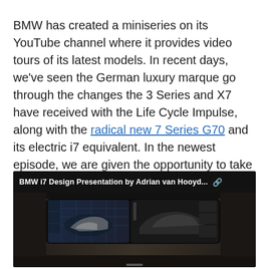BMW has created a miniseries on its YouTube channel where it provides video tours of its latest models. In recent days, we've seen the German luxury marque go through the changes the 3 Series and X7 have received with the Life Cycle Impulse, along with the radical new 7 Series G70 and its electric i7 equivalent. In the newest episode, we are given the opportunity to take a closer look at a much more exciting model – the M4 CSL.
[Figure (screenshot): Screenshot of a BMW i7 interior dashboard view showing dual curved screens with a car image, overlaid with a YouTube video title bar reading 'BMW i7 Design Presentation by Adrian van Hooyd...' with a share icon]